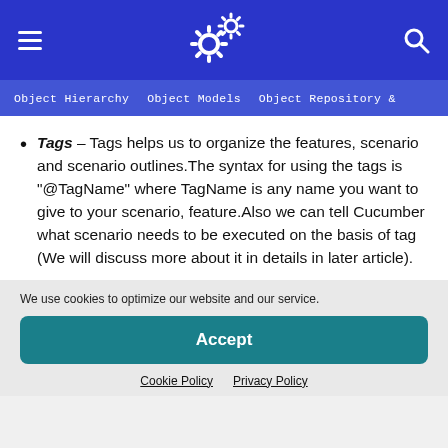Object Hierarchy  Object Models  Object Repository &
Tags – Tags helps us to organize the features, scenario and scenario outlines.The syntax for using the tags is "@TagName" where TagName is any name you want to give to your scenario, feature.Also we can tell Cucumber what scenario needs to be executed on the basis of tag (We will discuss more about it in details in later article).
We use cookies to optimize our website and our service.
Accept
Cookie Policy  Privacy Policy